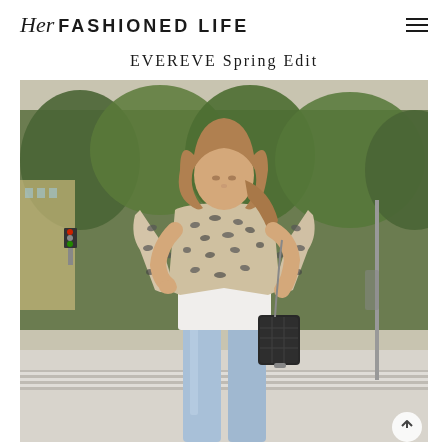Her FASHIONED LIFE
EVEREVE Spring Edit
[Figure (photo): Woman standing outdoors on an urban sidewalk wearing a leopard print blazer/jacket over a white t-shirt with light wash high-rise jeans and carrying a black quilted chain crossbody bag. Background shows trees and city buildings.]